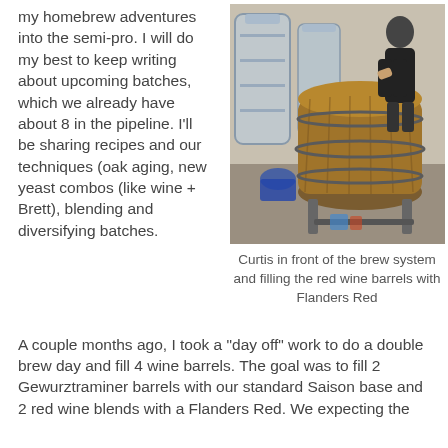my homebrew adventures into the semi-pro. I will do my best to keep writing about upcoming batches, which we already have about 8 in the pipeline. I'll be sharing recipes and our techniques (oak aging, new yeast combos (like wine + Brett), blending and diversifying batches.
[Figure (photo): A person standing in a brewery in front of large stainless steel brewing tanks, filling a large wooden wine barrel with beer.]
Curtis in front of the brew system and filling the red wine barrels with Flanders Red
A couple months ago, I took a "day off" work to do a double brew day and fill 4 wine barrels. The goal was to fill 2 Gewurztraminer barrels with our standard Saison base and 2 red wine blends with a Flanders Red. We expecting the